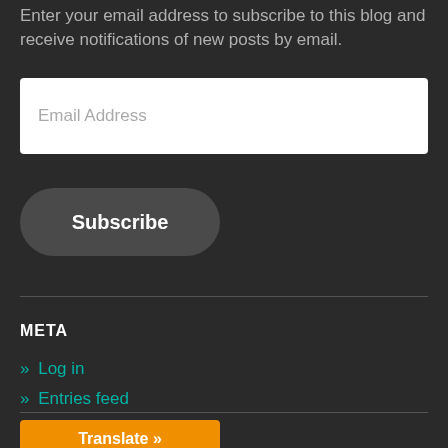Enter your email address to subscribe to this blog and receive notifications of new posts by email.
Email Address
Subscribe
META
» Log in
» Entries feed
» Comments feed
» WordPress.org
Translate »